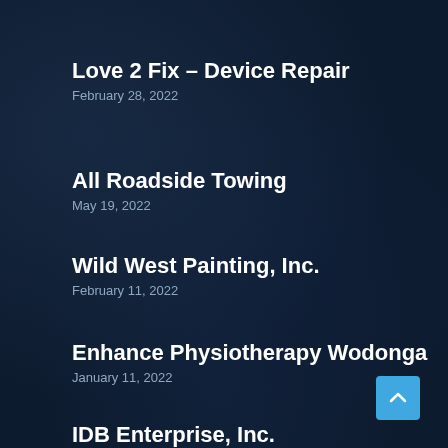Love 2 Fix – Device Repair
February 28, 2022
All Roadside Towing
May 19, 2022
Wild West Painting, Inc.
February 11, 2022
Enhance Physiotherapy Wodonga
January 11, 2022
IDB Enterprise, Inc.
January 19, 2022
[Figure (other): Scroll-to-top button, light blue square with upward chevron arrow icon]